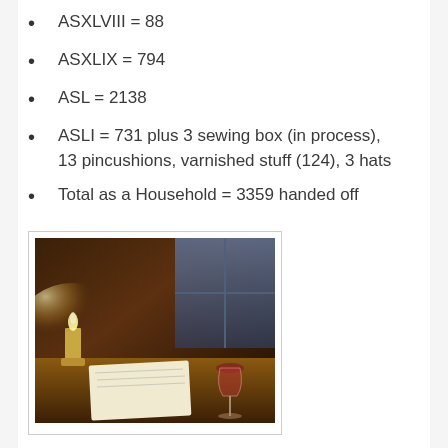ASXLVIII = 88
ASXLIX = 794
ASL = 2138
ASLI = 731 plus 3 sewing box (in process), 13 pincushions, varnished stuff (124), 3 hats
Total as a Household = 3359 handed off
[Figure (photo): Photo of a candlelit scene with a candle in a brass holder, a paper or book, and a wine glass on a wooden surface, with a window in the background]
In ministerio autem Somnium! Anja, graeca doctrina servus to House Capuchin
Page Created 3/19/17 & published 3/26/17 (C)M. Bartlett
Last updated 3/26/17